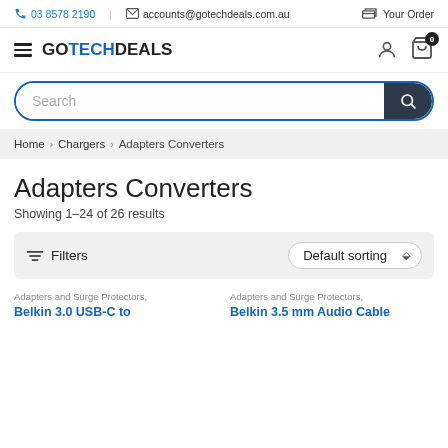03 8578 2190 | accounts@gotechdeals.com.au | Your Order
[Figure (logo): GOTECHDEALS logo with hamburger menu, user icon, and cart icon]
Search
Home > Chargers > Adapters Converters
Adapters Converters
Showing 1–24 of 26 results
Filters   Default sorting
Adapters and Surge Protectors, Belkin 3.0 USB-C to
Adapters and Surge Protectors, Belkin 3.5 mm Audio Cable